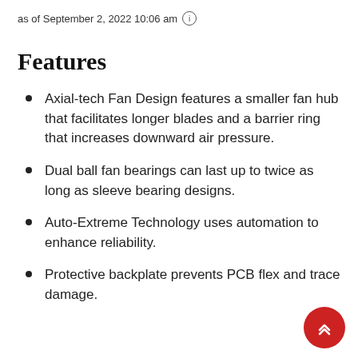as of September 2, 2022 10:06 am
Features
Axial-tech Fan Design features a smaller fan hub that facilitates longer blades and a barrier ring that increases downward air pressure.
Dual ball fan bearings can last up to twice as long as sleeve bearing designs.
Auto-Extreme Technology uses automation to enhance reliability.
Protective backplate prevents PCB flex and trace damage.